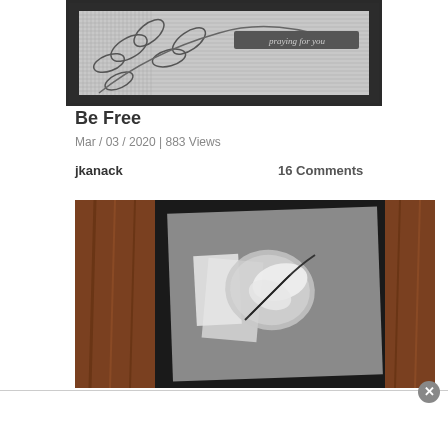[Figure (photo): Top portion of a handmade card with leaf pattern background and 'praying for you' text on a dark banner, framed in dark border]
Be Free
Mar / 03 / 2020 | 883 Views
jkanack
16 Comments
[Figure (photo): A grey handmade card with silver and white decorative paper elements resembling a bird or floral design, photographed leaning against a brown wooden surface]